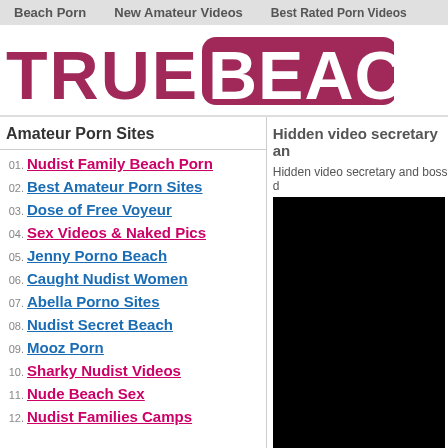Beach Porn   New Amateur Videos   Best Rated Porn Videos
[Figure (logo): TRUE BEACH PORN logo in bold pink/maroon letters with BEACH in a rounded rectangle]
Amateur Porn Sites
Hidden video secretary an
01. Nudist Family Beach Porn
02. Best Amateur Porn Sites
03. Dose of Free Voyeur
04. Sex Videos & Naked Pics
05. Jenny Porno Beach
06. Caught Nudist Women
07. Abella Porno Sites
08. Nudist Secret Beach
09. Mooz Porn
10. Sharky Nudist Videos
11. Nude Beach Sex
12. Nudist Families Camps
Hidden video secretary and boss d
[Figure (photo): Black rectangle (video player or image area)]